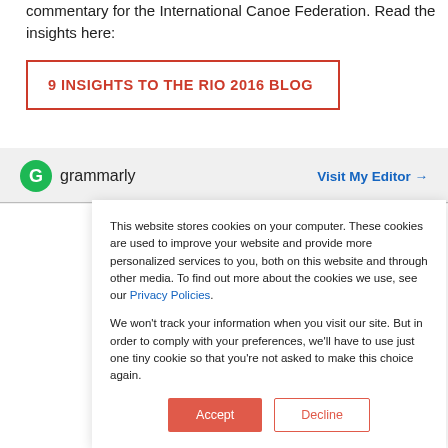commentary for the International Canoe Federation. Read the insights here:
9 INSIGHTS TO THE RIO 2016 BLOG
[Figure (logo): Grammarly logo with green circle G and text 'grammarly', with 'Visit My Editor →' link on the right]
This website stores cookies on your computer. These cookies are used to improve your website and provide more personalized services to you, both on this website and through other media. To find out more about the cookies we use, see our Privacy Policies.
We won't track your information when you visit our site. But in order to comply with your preferences, we'll have to use just one tiny cookie so that you're not asked to make this choice again.
Accept | Decline